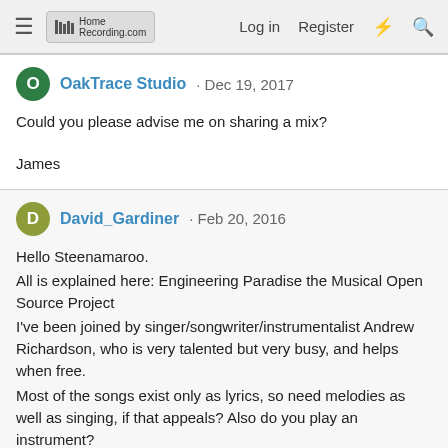HomeRecording.com — Log in  Register
OakTrace Studio · Dec 19, 2017
Could you please advise me on sharing a mix?

James
David_Gardiner · Feb 20, 2016
Hello Steenamaroo.
All is explained here: Engineering Paradise the Musical Open Source Project
I've been joined by singer/songwriter/instrumentalist Andrew Richardson, who is very talented but very busy, and helps when free.
Most of the songs exist only as lyrics, so need melodies as well as singing, if that appeals? Also do you play an instrument?
The Soundcloud channel (https://soundcloud.com/david-gardiner-8/ ) will show what we're up to. I intended more simplicity that Andrew has provided, but performers will do their